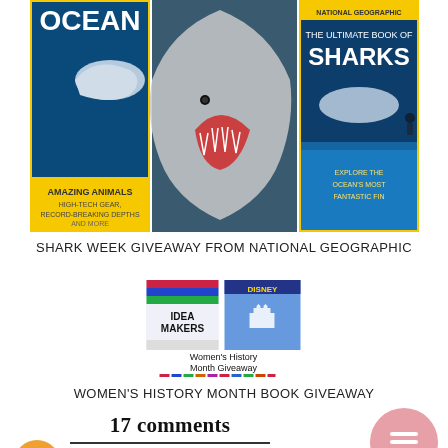[Figure (photo): Three book covers side by side: a National Geographic ocean/shark book on the left, a large shark open-mouthed underwater photo in the center, and 'The Ultimate Book of Sharks' on the right with yellow National Geographic branding]
SHARK WEEK GIVEAWAY FROM NATIONAL GEOGRAPHIC
[Figure (photo): Women's History Month Giveaway promotional image featuring book covers including 'Idea Makers' and a Disney book, with colorful text below]
WOMEN'S HISTORY MONTH BOOK GIVEAWAY
17 comments
Unknown